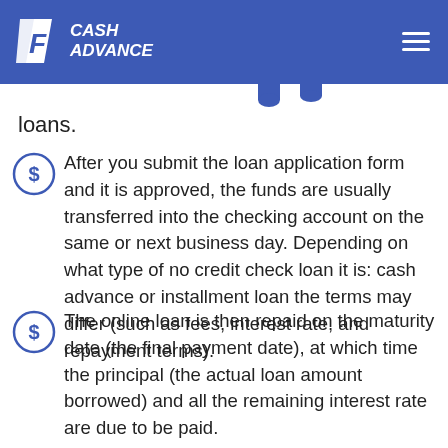1F CASH ADVANCE
loans.
After you submit the loan application form and it is approved, the funds are usually transferred into the checking account on the same or next business day. Depending on what type of no credit check loan it is: cash advance or installment loan the terms may differ (such as fees, interest rate, and repayment terms).
The online loan is then repaid on the maturity date (the final payment date), at which time the principal (the actual loan amount borrowed) and all the remaining interest rate are due to be paid.